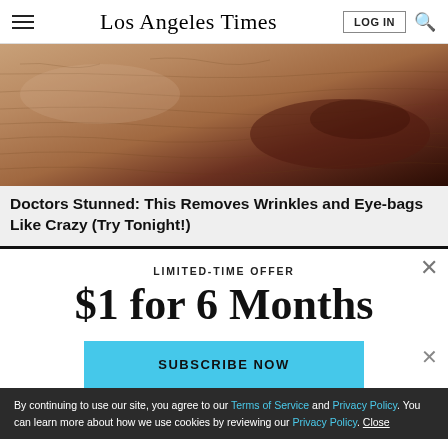Los Angeles Times
[Figure (photo): Close-up of elderly person's wrinkled skin around mouth/lips area]
Doctors Stunned: This Removes Wrinkles and Eye-bags Like Crazy (Try Tonight!)
LIMITED-TIME OFFER
$1 for 6 Months
SUBSCRIBE NOW
By continuing to use our site, you agree to our Terms of Service and Privacy Policy. You can learn more about how we use cookies by reviewing our Privacy Policy. Close